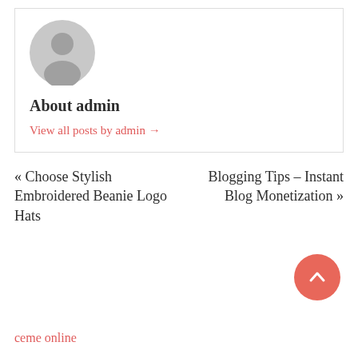[Figure (illustration): Grey circular avatar placeholder icon with silhouette of a person]
About admin
View all posts by admin →
« Choose Stylish Embroidered Beanie Logo Hats
Blogging Tips – Instant Blog Monetization »
[Figure (other): Coral/red circular scroll-to-top button with upward chevron arrow]
ceme online